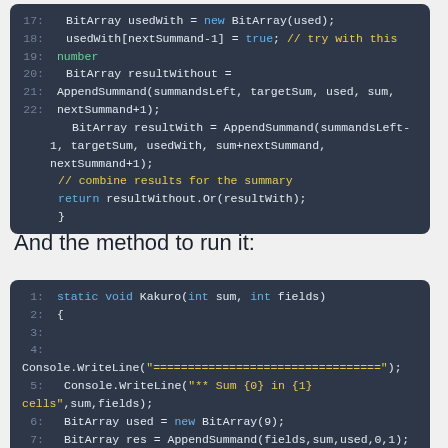[Figure (screenshot): Dark-themed code editor showing lines 17-22 and continuation lines of C# code with AppendSummand method]
And the method to run it:
[Figure (screenshot): Dark-themed code editor showing lines 1-10 of Kakuro static void method in C#]